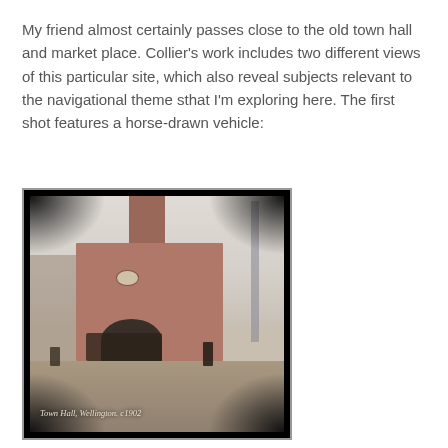My friend almost certainly passes close to the old town hall and market place. Collier's work includes two different views of this particular site, which also reveal subjects relevant to the navigational theme sthat I'm exploring here. The first shot features a horse-drawn vehicle:
[Figure (photo): An old sepia/early colour photograph of a town hall building, labelled 'Town Hall, Wellington'. The building has a gabled roof with a clock tower, a large arched entrance, and is surrounded by street scene elements including a horse-drawn vehicle and people. Dark vignetting around the edges of the photographic plate.]